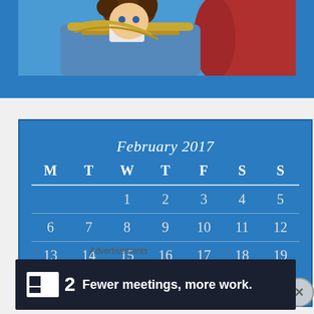[Figure (illustration): Anime-style illustration showing a character in a blue military uniform with gold epaulettes and braiding, partially cropped, with a red cloth visible on the right side. Brown hair visible at top.]
| M | T | W | T | F | S | S |
| --- | --- | --- | --- | --- | --- | --- |
|  |  | 1 | 2 | 3 | 4 | 5 |
| 6 | 7 | 8 | 9 | 10 | 11 | 12 |
| 13 | 14 | 15 | 16 | 17 | 18 | 19 |
Advertisements
[Figure (screenshot): Advertisement banner for F2 app: dark background with white logo and text 'Fewer meetings, more work.']